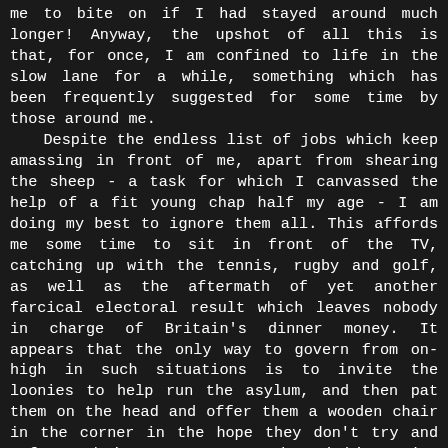me to bite on if I had stayed around much longer! Anyway, the upshot of all this is that, for once, I am confined to life in the slow lane for a while, something which has been frequently suggested for some time by those around me.

Despite the endless list of jobs which keep amassing in front of me, apart from shearing the sheep - a task for which I canvassed the help of a fit young chap half my age - I am doing my best to ignore them all. This affords me some time to sit in front of the TV, catching up with the tennis, rugby and golf, as well as the aftermath of yet another farcical electoral result which leaves nobody in charge of Britain's dinner money. It appears that the only way to govern from on-high in such situations is to invite the loonies to help run the asylum, and then pat them on the head and offer them a wooden chair in the corner in the hope they don't try and enforce their own outrageous homophobic racist policies in the process. Shame we couldn't revert back to Cromwell's day where a hung parliament meant exactly that, as they swung by the neck quietly in the breeze, amid a swarm of blow-flies!          Wouldn't that make a pleasant sight for London's cyclists?
On the subject of bikes, I note that the city of Dublin is